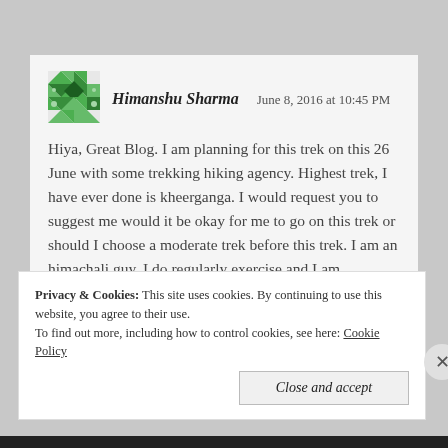[Figure (illustration): Green geometric/mosaic avatar icon for user Himanshu Sharma]
Himanshu Sharma
June 8, 2016 at 10:45 PM
Hiya, Great Blog. I am planning for this trek on this 26 June with some trekking hiking agency. Highest trek, I have ever done is kheerganga. I would request you to suggest me would it be okay for me to go on this trek or should I choose a moderate trek before this trek. I am an himachali guy, I do regularly exercise and I am practicing yoga breathing for this trek, would it add some points to go for this trek. Thanks
Privacy & Cookies: This site uses cookies. By continuing to use this website, you agree to their use. To find out more, including how to control cookies, see here: Cookie Policy
Close and accept